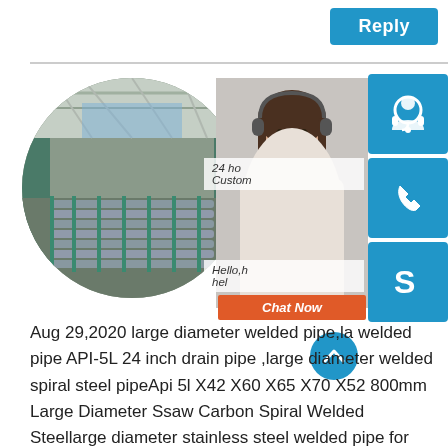Reply
[Figure (photo): Circular cropped photo of a large industrial steel pipe manufacturing facility interior, showing steel pipes/bars on conveyor rollers inside a large warehouse with overhead cranes.]
[Figure (illustration): Side panel with blue customer service icons: headset icon, phone icon, Skype-style 'S' icon, and a 'Chat Now' button in orange. A photo of a smiling customer service representative is visible behind the icons.]
24 ho Custom
Hello,h hel
Chat Now
Aug 29,2020 large diameter welded pipe,la welded pipe API-5L 24 inch drain pipe ,large diameter welded spiral steel pipeApi 5l X42 X60 X65 X70 X52 800mm Large Diameter Ssaw Carbon Spiral Welded Steellarge diameter stainless steel welded pipe for petrochemical industrylarge diameter specification 1 m